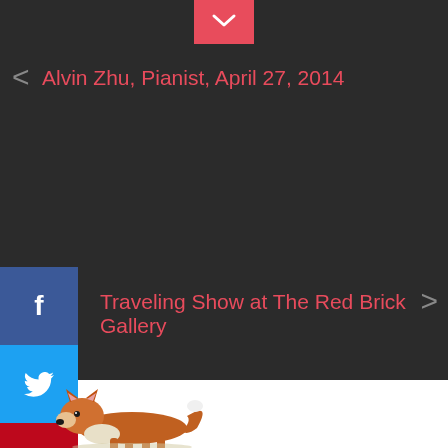[Figure (screenshot): Dark-themed website navigation screenshot with social media share buttons, navigation links, and a fox illustration at the bottom]
Alvin Zhu, Pianist, April 27, 2014
Traveling Show at The Red Brick Gallery
Leave a reply